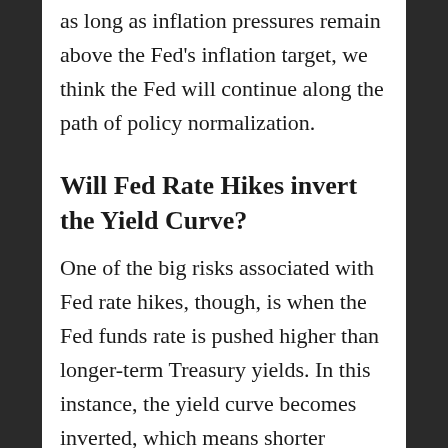as long as inflation pressures remain above the Fed's inflation target, we think the Fed will continue along the path of policy normalization.
Will Fed Rate Hikes invert the Yield Curve?
One of the big risks associated with Fed rate hikes, though, is when the Fed funds rate is pushed higher than longer-term Treasury yields. In this instance, the yield curve becomes inverted, which means shorter maturity securities out-yield longer maturity securities. Generally, the spread is interpreted and